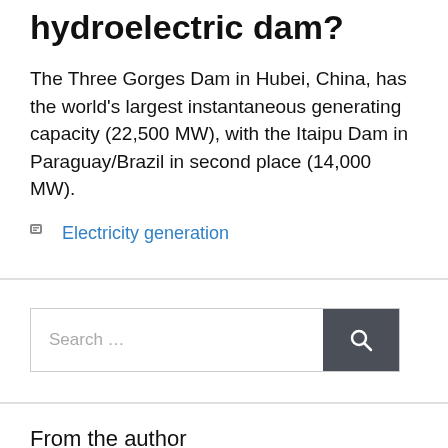hydroelectric dam?
The Three Gorges Dam in Hubei, China, has the world's largest instantaneous generating capacity (22,500 MW), with the Itaipu Dam in Paraguay/Brazil in second place (14,000 MW).
Electricity generation
Search …
From the author